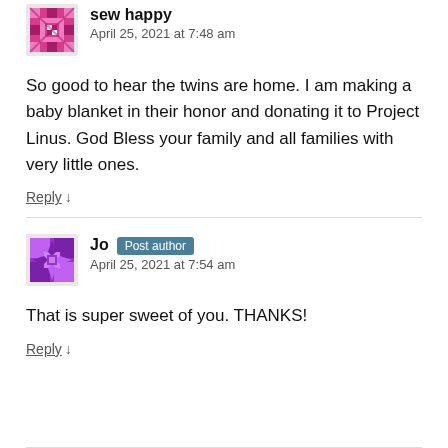[Figure (illustration): Pink/magenta quilt pattern avatar icon for sew happy]
sew happy
April 25, 2021 at 7:48 am
So good to hear the twins are home. I am making a baby blanket in their honor and donating it to Project Linus. God Bless your family and all families with very little ones.
Reply ↓
[Figure (illustration): Purple/magenta quilt star pattern avatar icon for Jo]
Jo Post author
April 25, 2021 at 7:54 am
That is super sweet of you. THANKS!
Reply ↓